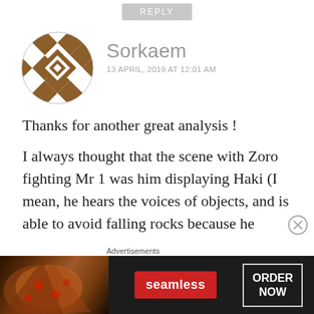REPLY
[Figure (illustration): Circular avatar with decorative geometric brown and white diamond/chevron pattern]
Sorkaem
13 APRIL, 2019 AT 12:01 AM
Thanks for another great analysis !
I always thought that the scene with Zoro fighting Mr 1 was him displaying Haki (I mean, he hears the voices of objects, and is able to avoid falling rocks because he
Advertisements
[Figure (photo): Seamless food delivery advertisement banner with pizza image, red Seamless logo, and ORDER NOW button]